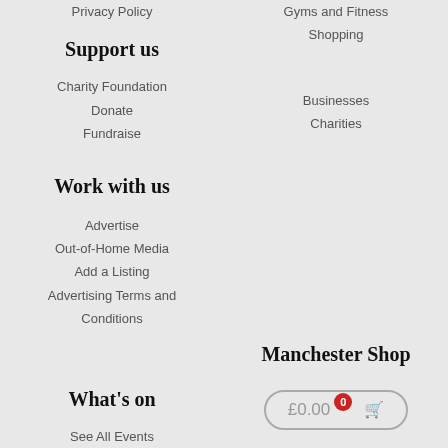Privacy Policy
Gyms and Fitness
Shopping
Support us
Businesses
Charities
Charity Foundation
Donate
Fundraise
Work with us
Advertise
Out-of-Home Media
Add a Listing
Advertising Terms and Conditions
What's on
Manchester Shop
See All Events
Guided Tours
Free Things To Do
Family Friendly Things To Do
£0.00